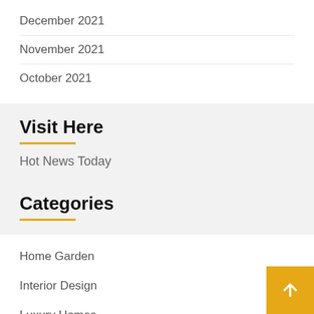December 2021
November 2021
October 2021
Visit Here
Hot News Today
Categories
Home Garden
Interior Design
Luxury Homes
Modern Bedroom